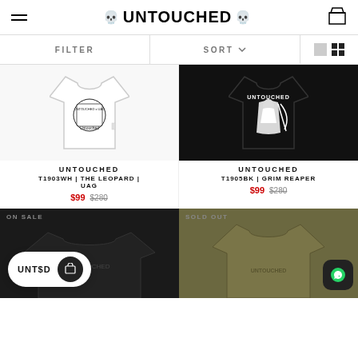UNTOUCHED - navigation header with hamburger menu and shopping bag
FILTER   SORT
[Figure (photo): White t-shirt with back graphic print - Untouched x UAG Leopard design]
UNTOUCHED
T1903WH | THE LEOPARD | UAG
$99   $280
[Figure (photo): Black t-shirt with Grim Reaper graphic print - Untouched design]
UNTOUCHED
T1905BK | GRIM REAPER
$99   $280
ON SALE
SOLD OUT
[Figure (photo): Bottom left product card - black item partially visible]
[Figure (photo): Bottom right product card - olive/army green t-shirt]